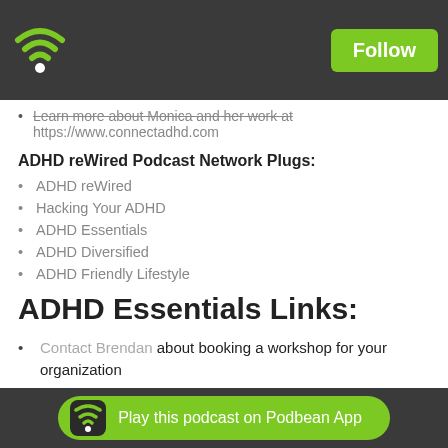[Figure (logo): Podbean app WiFi/podcast icon logo in green on dark grey header bar]
Learn more about Monica and her work at https://www.connectadhd.com
ADHD reWired Podcast Network Plugs:
ADHD reWired
Hacking Your ADHD
ADHD Essentials
ADHD Diversified
ADHD Friendly Lifestyle
ADHD Essentials Links:
Contact Brendan about booking a workshop for your organization
Join Our Facebook Community
Learn about & Register for the The ADHD Essentials Online Parent Coaching Groups
Check out the ADHD Essentials Homepage
Contact Brendan...
[Figure (other): Play this podcast on Podbean App banner button at bottom]